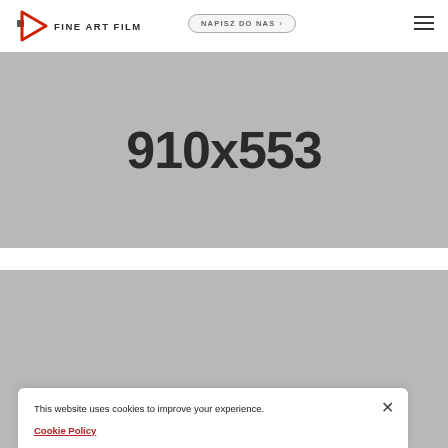[Figure (logo): Fine Art Film logo: red play button triangle icon with small square, text 'FINE ART FILM' in bold uppercase]
NAPISZ DO NAS >
[Figure (other): Gray placeholder image showing dimensions 910x553]
[Figure (other): Gray placeholder image showing dimensions 910x553 (partially visible at bottom)]
This website uses cookies to improve your experience. Cookie Policy